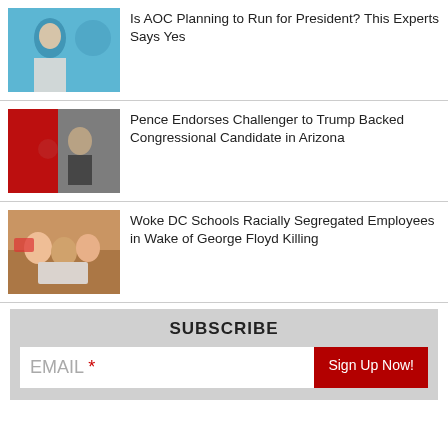[Figure (photo): Woman speaking at an event, teal/blue background]
Is AOC Planning to Run for President? This Experts Says Yes
[Figure (photo): Mike Pence at a political rally with red flags in background]
Pence Endorses Challenger to Trump Backed Congressional Candidate in Arizona
[Figure (photo): Children looking at a laptop computer]
Woke DC Schools Racially Segregated Employees in Wake of George Floyd Killing
SUBSCRIBE
EMAIL * Sign Up Now!